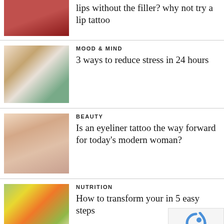[Figure (photo): Close-up of red lips (partially visible at top)]
lips without the filler? why not try a lip tattoo
[Figure (photo): Woman sitting in meditation yoga pose in a bright room]
MOOD & MIND
3 ways to reduce stress in 24 hours
[Figure (photo): Close-up of a woman's closed eye with makeup and long eyelashes]
BEAUTY
Is an eyeliner tattoo the way forward for today's modern woman?
[Figure (photo): Overhead view of a healthy salad bowl with vegetables]
NUTRITION
How to transform your in 5 easy steps